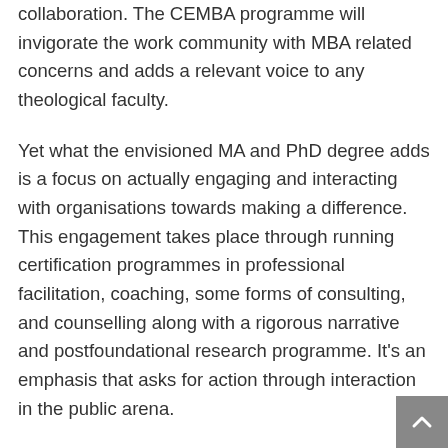collaboration. The CEMBA programme will invigorate the work community with MBA related concerns and adds a relevant voice to any theological faculty.
Yet what the envisioned MA and PhD degree adds is a focus on actually engaging and interacting with organisations towards making a difference. This engagement takes place through running certification programmes in professional facilitation, coaching, some forms of consulting, and counselling along with a rigorous narrative and postfoundational research programme. It's an emphasis that asks for action through interaction in the public arena.
This emphasis promotes certain values